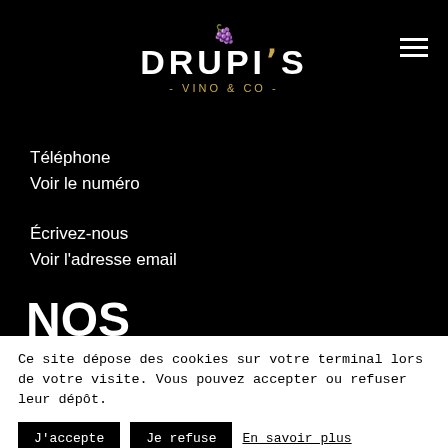DRUPI'S - VINO & CO -
Téléphone
Voir le numéro
Écrivez-nous
Voir l'adresse email
NOS
Ce site dépose des cookies sur votre terminal lors de votre visite. Vous pouvez accepter ou refuser leur dépôt.
J'accepte  Je refuse  En savoir plus